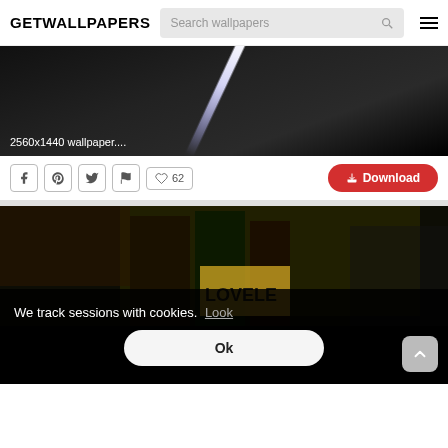GETWALLPAPERS  Search wallpapers  [hamburger menu]
[Figure (screenshot): Dark wallpaper with lightsaber beam diagonal, labeled '2560x1440 wallpaper....']
2560x1440 wallpaper....
Facebook Pinterest Twitter Flag ♡ 62  Download
[Figure (screenshot): Dark video game scene with book covers and city environment, cookie consent overlay with 'We track sessions with cookies. Look' and 'Ok' button, scroll-to-top arrow button]